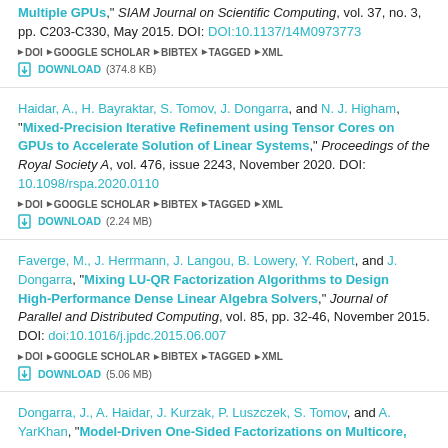Multiple GPUs," SIAM Journal on Scientific Computing, vol. 37, no. 3, pp. C203-C330, May 2015. DOI: DOI:10.1137/14M0973773 ▶ DOI ▶ GOOGLE SCHOLAR ▶ BIBTEX ▶ TAGGED ▶ XML ⬇ DOWNLOAD (374.8 KB)
Haidar, A., H. Bayraktar, S. Tomov, J. Dongarra, and N. J. Higham, "Mixed-Precision Iterative Refinement using Tensor Cores on GPUs to Accelerate Solution of Linear Systems," Proceedings of the Royal Society A, vol. 476, issue 2243, November 2020. DOI: 10.1098/rspa.2020.0110 ▶ DOI ▶ GOOGLE SCHOLAR ▶ BIBTEX ▶ TAGGED ▶ XML ⬇ DOWNLOAD (2.24 MB)
Faverge, M., J. Herrmann, J. Langou, B. Lowery, Y. Robert, and J. Dongarra, "Mixing LU-QR Factorization Algorithms to Design High-Performance Dense Linear Algebra Solvers," Journal of Parallel and Distributed Computing, vol. 85, pp. 32-46, November 2015. DOI: doi:10.1016/j.jpdc.2015.06.007 ▶ DOI ▶ GOOGLE SCHOLAR ▶ BIBTEX ▶ TAGGED ▶ XML ⬇ DOWNLOAD (5.06 MB)
Dongarra, J., A. Haidar, J. Kurzak, P. Luszczek, S. Tomov, and A. YarKhan, "Model-Driven One-Sided Factorizations on Multicore,